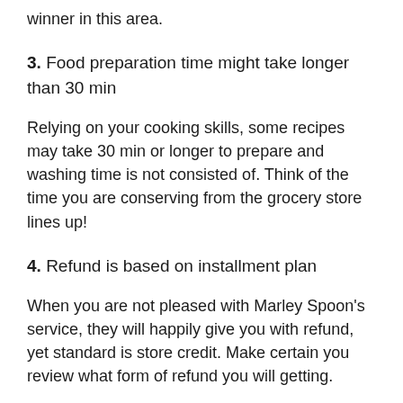winner in this area.
3. Food preparation time might take longer than 30 min
Relying on your cooking skills, some recipes may take 30 min or longer to prepare and washing time is not consisted of. Think of the time you are conserving from the grocery store lines up!
4. Refund is based on installment plan
When you are not pleased with Marley Spoon's service, they will happily give you with refund, yet standard is store credit. Make certain you review what form of refund you will getting.